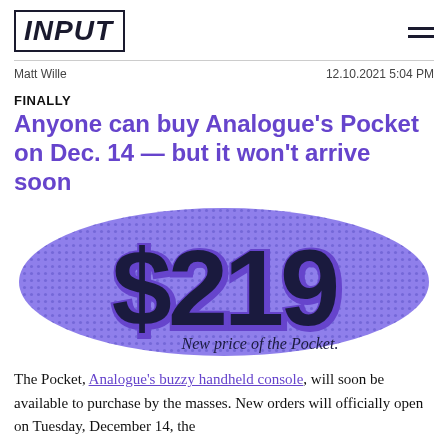INPUT
Matt Wille | 12.10.2021 5:04 PM
FINALLY
Anyone can buy Analogue's Pocket on Dec. 14 — but it won't arrive soon
[Figure (infographic): Large '$219' text in dark navy with halftone dot pattern on a purple/blue splodge background. Below reads 'New price of the Pocket.']
The Pocket, Analogue's buzzy handheld console, will soon be available to purchase by the masses. New orders will officially open on Tuesday, December 14, the